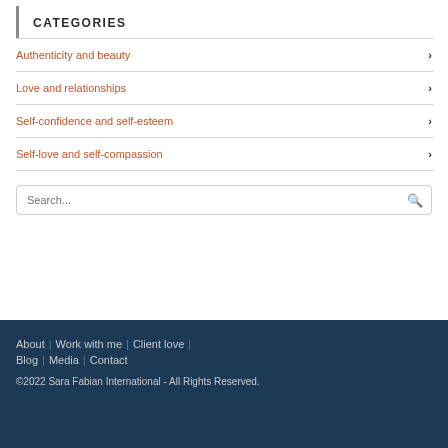CATEGORIES
Authenticity and beauty
Love and relationships
Self-confidence and self-esteem
Self-love and self-compassion
Search...
About | Work with me | Client love | Blog | Media | Contact
©2022 Sara Fabian International - All Rights Reserved.